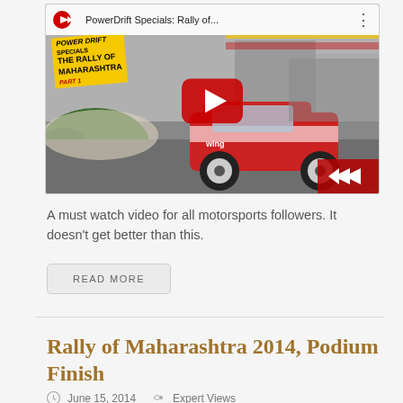[Figure (screenshot): YouTube video thumbnail for PowerDrift Specials: Rally of Maharashtra, showing a red rally car in action with a yellow PowerDrift logo overlay and a red play button in the center.]
A must watch video for all motorsports followers. It doesn't get better than this.
READ MORE
Rally of Maharashtra 2014, Podium Finish
June 15, 2014   Expert Views